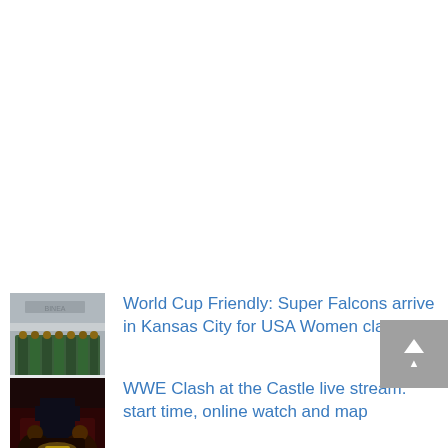[Figure (photo): Thumbnail photo of Super Falcons team in green uniforms at an airport]
World Cup Friendly: Super Falcons arrive in Kansas City for USA Women clash
[Figure (photo): Thumbnail promotional image for WWE Clash at the Castle event showing wrestlers]
WWE Clash at the Castle live stream: start time, online watch and map